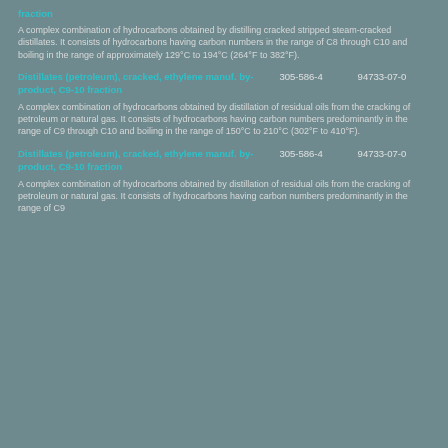fraction
A complex combination of hydrocarbons obtained by distilling cracked stripped steam-cracked distillates. It consists of hydrocarbons having carbon numbers in the range of C8 through C10 and boiling in the range of approximately 129°C to 194°C (264°F to 382°F).
Distillates (petroleum), cracked, ethylene manuf. by-product, C9-10 fraction
305-586-4
94733-07-0
A complex combination of hydrocarbons obtained by distillation of residual oils from the cracking of petroleum or natural gas. It consists of hydrocarbons having carbon numbers predominantly in the range of C9 through C10 and boiling in the range of 150°C to 210°C (302°F to 410°F).
Distillates (petroleum), cracked, ethylene manuf. by-product, C9-10 fraction
305-586-4
94733-07-0
A complex combination of hydrocarbons obtained by distillation of residual oils from the cracking of petroleum or natural gas. It consists of hydrocarbons having carbon numbers predominantly in the range of C9